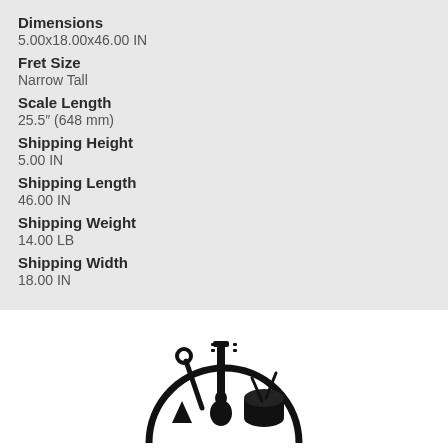Dimensions
5.00x18.00x46.00 IN
Fret Size
Narrow Tall
Scale Length
25.5" (648 mm)
Shipping Height
5.00 IN
Shipping Length
46.00 IN
Shipping Weight
14.00 LB
Shipping Width
18.00 IN
[Figure (logo): Music store logo — semicircle with silhouettes of guitar, drum, and other instruments inside]